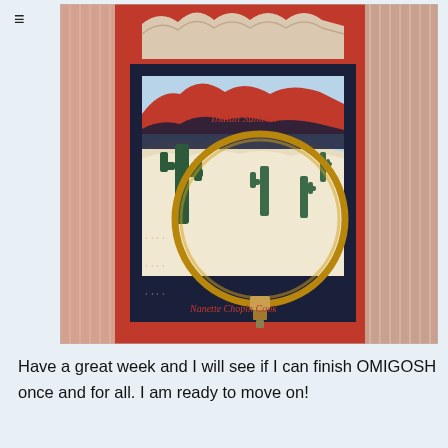[Figure (photo): A quilt with a desert Southwest scene labeled 'Indian Summer' showing cacti appliquéd on a cream background with red and navy borders, held in a wooden embroidery hoop. The quilt is attributed to 'Nanette Chopin Cook'. The quilt has red and cream striped fabric on the outer border and navy inner border framing the desert scene.]
Have a great week and I will see if I can finish OMIGOSH once and for all. I am ready to move on!